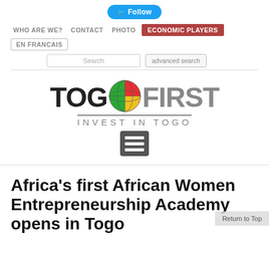Follow
WHO ARE WE?  CONTACT  PHOTO  ECONOMIC PLAYERS  EN FRANCAIS
Search  advanced search
[Figure (logo): TogoFirst – Invest in Togo logo with globe icon and hamburger menu icon]
Africa's first African Women Entrepreneurship Academy opens in Togo